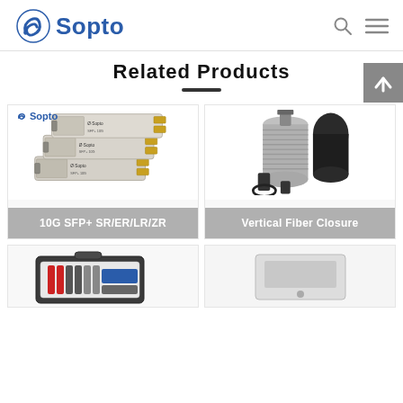Sopto
Related Products
[Figure (photo): 10G SFP+ SR/ER/LR/ZR optical transceivers stacked, with Sopto branding]
10G SFP+ SR/ER/LR/ZR
[Figure (photo): Vertical Fiber Closure - cylindrical fiber optic splice closure with mounting bracket]
Vertical Fiber Closure
[Figure (photo): Fiber optic tool kit in carrying case - bottom left partial product card]
[Figure (photo): Partially visible product - bottom right partial product card]